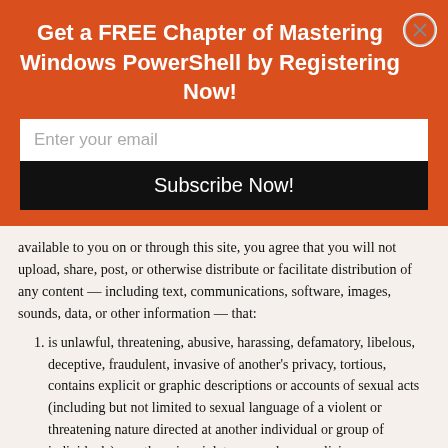Get a FREE Chapter of Mastering Windows PowerShell by Registering Now!
Enter your email
Subscribe Now!
available to you on or through this site, you agree that you will not upload, share, post, or otherwise distribute or facilitate distribution of any content — including text, communications, software, images, sounds, data, or other information — that:
is unlawful, threatening, abusive, harassing, defamatory, libelous, deceptive, fraudulent, invasive of another's privacy, tortious, contains explicit or graphic descriptions or accounts of sexual acts (including but not limited to sexual language of a violent or threatening nature directed at another individual or group of individuals), or otherwise violates our rules or policies;
victimizes, harasses, degrades, or intimidates an individual or group of individuals on the basis of religion, gender, sexual orientation, race, ethnicity, age, or disability;
infringes on any patent, trademark, trade secret, copyright, right of